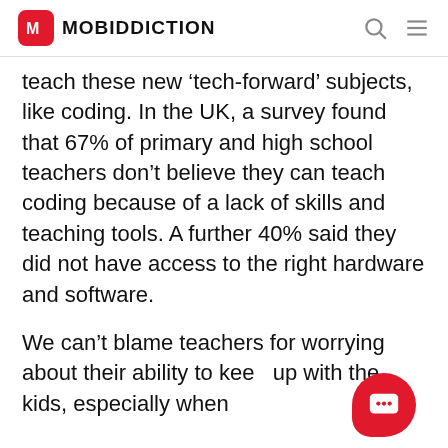MOBIDDICTION
teach these new ‘tech-forward’ subjects, like coding. In the UK, a survey found that 67% of primary and high school teachers don’t believe they can teach coding because of a lack of skills and teaching tools. A further 40% said they did not have access to the right hardware and software.
We can’t blame teachers for worrying about their ability to keep up with the kids, especially when